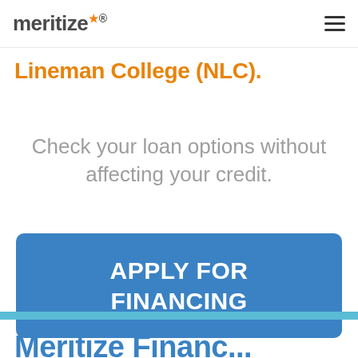meritize
Lineman College (NLC).
Check your loan options without affecting your credit.
APPLY FOR FINANCING
Meritize Financ...